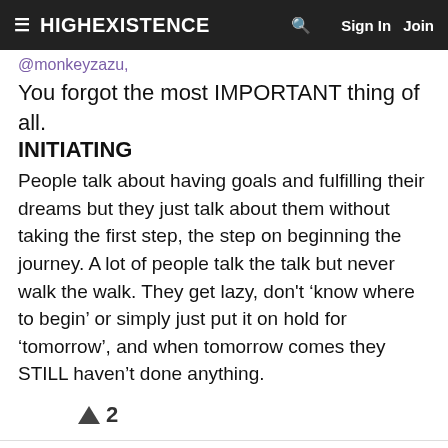≡ HIGHEXISTENCE 🔍 Sign In Join
@monkeyzazu,
You forgot the most IMPORTANT thing of all.
INITIATING
People talk about having goals and fulfilling their dreams but they just talk about them without taking the first step, the step on beginning the journey. A lot of people talk the talk but never walk the walk. They get lazy, don't 'know where to begin' or simply just put it on hold for 'tomorrow', and when tomorrow comes they STILL haven't done anything.
▲ 2
Egarim (363) (@egarim)
@monkeyzazu,